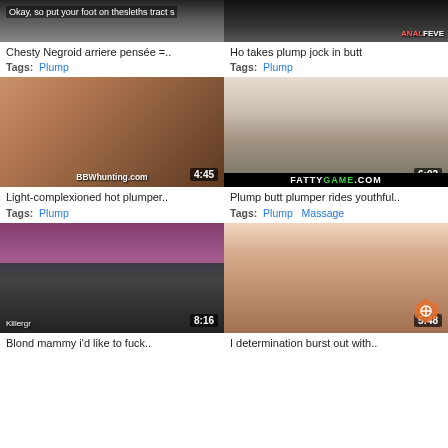[Figure (screenshot): Video thumbnail row 1 left - dark partial thumbnail with overlay text 'Okay, so put your foot on the...']
Chesty Negroid arriere pensée =..
Tags:  Plump
[Figure (screenshot): Video thumbnail row 1 right - dark thumbnail with AnalFeve branding]
Ho takes plump jock in butt
Tags:  Plump
[Figure (screenshot): Video thumbnail 4:45 - light complexioned plump woman, BBWhunting.com watermark]
Light-complexioned hot plumper..
Tags:  Plump
[Figure (screenshot): Video thumbnail 6:02 - plump woman on bed, FattyGame.com watermark]
Plump butt plumper rides youthful..
Tags:  Plump   Massage
[Figure (screenshot): Video thumbnail 8:16 - woman in pink bikini, Killergr watermark]
Blond mammy i'd like to fuck..
[Figure (screenshot): Video thumbnail 5:48 - woman with hexagon logo watermark]
I determination burst out with..